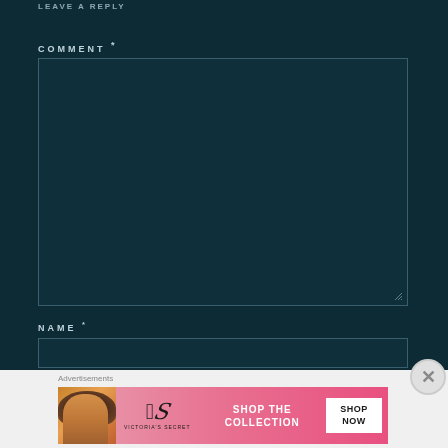LEAVE A REPLY
COMMENT *
[Figure (screenshot): Comment text area input field, dark teal background, empty]
NAME *
[Figure (screenshot): Name text input field, dark teal background, empty]
Advertisements
[Figure (infographic): Victoria's Secret advertisement banner with model, VS logo, 'SHOP THE COLLECTION', and 'SHOP NOW' button]